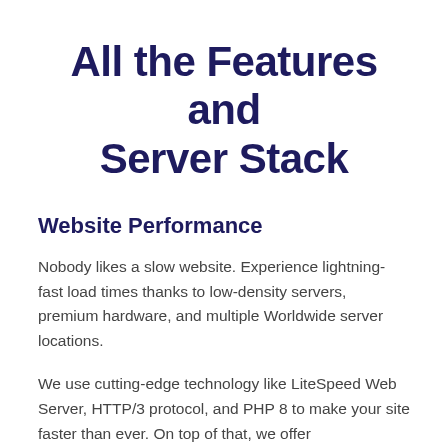All the Features and Server Stack
Website Performance
Nobody likes a slow website. Experience lightning-fast load times thanks to low-density servers, premium hardware, and multiple Worldwide server locations.
We use cutting-edge technology like LiteSpeed Web Server, HTTP/3 protocol, and PHP 8 to make your site faster than ever. On top of that, we offer